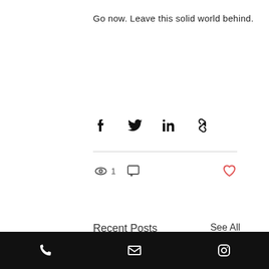Go now. Leave this solid world behind.
[Figure (infographic): Social share icons: Facebook, Twitter, LinkedIn, Link/chain icon]
[Figure (infographic): Interaction icons: eye with count 1, comment bubble, heart icon (red outline) on the right]
Recent Posts
See All
[Figure (photo): Grid of recent blog post thumbnail images including: yellow flowers, teal background with text 'IMAGINATION WAS UNEXPECTED AND VERY MOVING', painted stones/rocks with words, partial green lawn image, and bottom row with blue/orange art piece and teal background with text 'COMPASSIONATE CREATIVE COME']
Phone icon, Email icon, Instagram icon